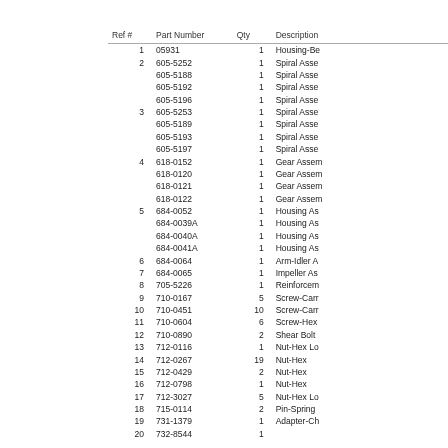| Ref # | Part Number | Qty | Description |
| --- | --- | --- | --- |
| 1 | 05931 | 1 | Housing-Be |
| 2 | 605-5252 | 1 | Spiral Asse |
|  | 605-5188 | 1 | Spiral Asse |
|  | 605-5192 | 1 | Spiral Asse |
|  | 605-5196 | 1 | Spiral Asse |
| 3 | 605-5253 | 1 | Spiral Asse |
|  | 605-5189 | 1 | Spiral Asse |
|  | 605-5193 | 1 | Spiral Asse |
|  | 605-5197 | 1 | Spiral Asse |
| 4 | 618-0152 | 1 | Gear Assem |
|  | 618-0120 | 1 | Gear Assem |
|  | 618-0121 | 1 | Gear Assem |
|  | 618-0122 | 1 | Gear Assem |
| 5 | 684-0052 | 1 | Housing As |
|  | 684-0039A | 1 | Housing As |
|  | 684-0040A | 1 | Housing As |
|  | 684-0041A | 1 | Housing As |
| 6 | 684-0064 | 1 | Arm-Idler A |
| 7 | 684-0065 | 1 | Impeller As |
| 8 | 705-5226 | 1 | Reinforcem |
| 9 | 710-0167 | 5 | Screw-Carr |
| 10 | 710-0451 | 10 | Screw-Carr |
| 11 | 710-0604 | 6 | Screw-Hex |
| 12 | 710-0890 | 2 | Shear Bolt |
| 13 | 712-0116 | 1 | Nut-Hex Lo |
| 14 | 712-0267 | 19 | Nut-Hex |
| 15 | 712-0429 | 2 | Nut-Hex |
| 16 | 712-0798 | 1 | Nut-Hex |
| 17 | 712-3027 | 5 | Nut-Hex Lo |
| 18 | 715-0114 | 2 | Pin-Spring |
| 19 | 731-1379 | 1 | Adapter-Ch |
| 20 | 732-8544 | 1 |  |